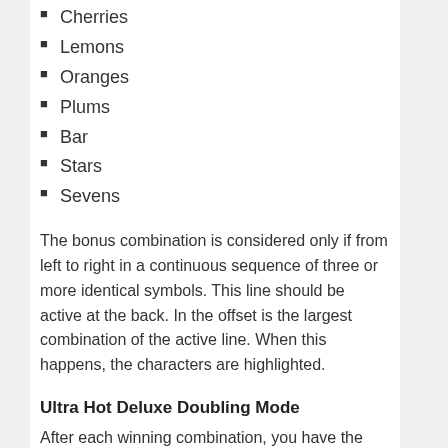Cherries
Lemons
Oranges
Plums
Bar
Stars
Sevens
The bonus combination is considered only if from left to right in a continuous sequence of three or more identical symbols. This line should be active at the back. In the offset is the largest combination of the active line. When this happens, the characters are highlighted.
Ultra Hot Deluxe Doubling Mode
After each winning combination, you have the opportunity to double it. Click the Gamble button and run a risk game. The task is simple: guess the color of a closed card – black or red, there are only two options. In case of luck, your winnings double, and you can either continue the risk game or pick up the winnings. In general, this is a nice